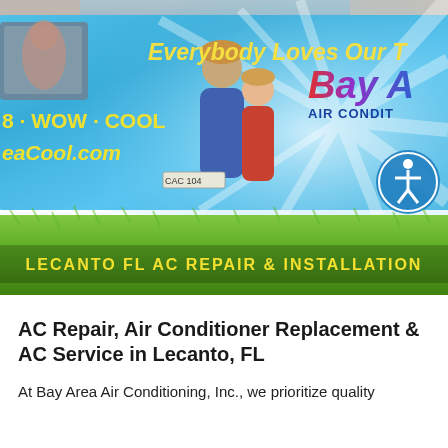[Figure (photo): A bright blue Bay Area Air Conditioning service van parked in front of a house surrounded by grass. The van has yellow italic text 'Everybody Loves Our T' (partially cut off), '8 · WOW · COOL', 'eaCool.com', a Bay Area Air Conditioning logo with colorful lettering, 'AIR CONDIT' in dark blue, two people (a man and child) printed on the side, an accessibility icon circle, and a green grass foreground. A yellow text banner at the bottom reads 'LECANTO FL AC REPAIR & INSTALLATION'.]
AC Repair, Air Conditioner Replacement & AC Service in Lecanto, FL
At Bay Area Air Conditioning, Inc., we prioritize quality